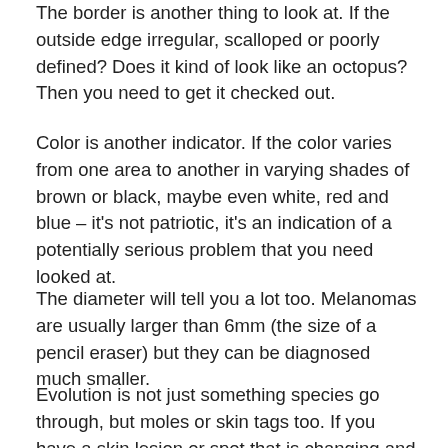The border is another thing to look at. If the outside edge irregular, scalloped or poorly defined? Does it kind of look like an octopus? Then you need to get it checked out.
Color is another indicator. If the color varies from one area to another in varying shades of brown or black, maybe even white, red and blue – it's not patriotic, it's an indication of a potentially serious problem that you need looked at.
The diameter will tell you a lot too. Melanomas are usually larger than 6mm (the size of a pencil eraser) but they can be diagnosed much smaller.
Evolution is not just something species go through, but moles or skin tags too. If you have a skin lesion or spot that is changing and looks different now than it did a